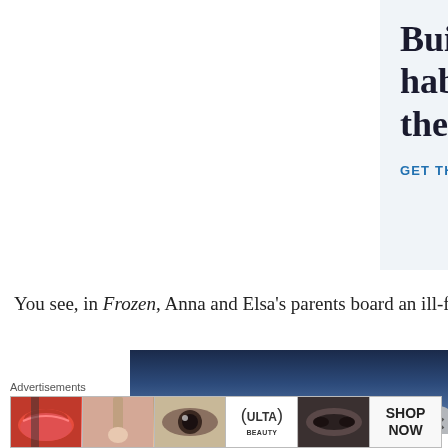[Figure (screenshot): WordPress app advertisement with text 'Build a writing habit. Post on the go.' and GET THE APP call to action with WordPress logo]
You see, in Frozen, Anna and Elsa's parents board an ill-fated sh
[Figure (screenshot): Movie scene screenshot showing dark night sky, with close button]
Advertisements
[Figure (screenshot): Ulta Beauty advertisement strip showing makeup images including lips, brush, eye, Ulta logo, model eyes, and SHOP NOW text]